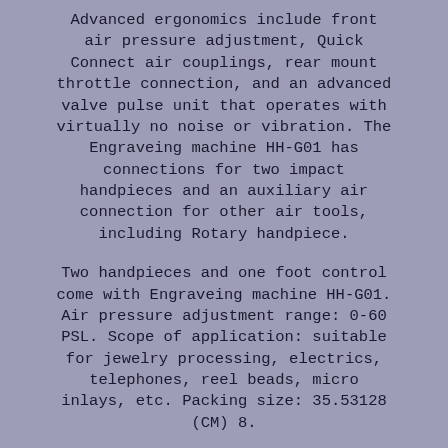Advanced ergonomics include front air pressure adjustment, Quick Connect air couplings, rear mount throttle connection, and an advanced valve pulse unit that operates with virtually no noise or vibration. The Engraveing machine HH-G01 has connections for two impact handpieces and an auxiliary air connection for other air tools, including Rotary handpiece.
Two handpieces and one foot control come with Engraveing machine HH-G01. Air pressure adjustment range: 0-60 PSL. Scope of application: suitable for jewelry processing, electrics, telephones, reel beads, micro inlays, etc. Packing size: 35.53128 (CM) 8.
Due to the light and screen difference, the item's color maybe slightly different from the pictures. Please allow 1-2...